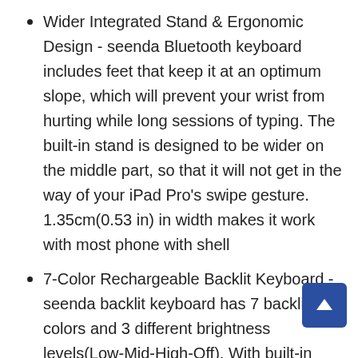Wider Integrated Stand & Ergonomic Design - seenda Bluetooth keyboard includes feet that keep it at an optimum slope, which will prevent your wrist from hurting while long sessions of typing. The built-in stand is designed to be wider on the middle part, so that it will not get in the way of your iPad Pro's swipe gesture. 1.35cm(0.53 in) in width makes it work with most phone with shell
7-Color Rechargeable Backlit Keyboard - seenda backlit keyboard has 7 backlight colors and 3 different brightness levels(Low-Mid-High-Off). With built-in 1500mAh Rechargeable Li-ion Battery, this wireless Bluetooth keyboard can be easily recharged through USB C cable. Full charge lasts up-to 100 hours uninterrupted work(back-lighting off), stand by for 4 months